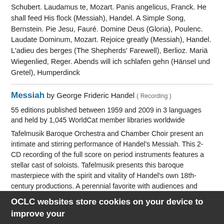Schubert. Laudamus te, Mozart. Panis angelicus, Franck. He shall feed His flock (Messiah), Handel. A Simple Song, Bernstein. Pie Jesu, Fauré. Domine Deus (Gloria), Poulenc. Laudate Dominum, Mozart. Rejoice greatly (Messiah), Handel. L'adieu des berges (The Shepherds' Farewell), Berlioz. Mariä Wiegenlied, Reger. Abends will ich schlafen gehn (Hänsel und Gretel), Humperdinck
Messiah by George Frideric Handel ( Recording )
55 editions published between 1959 and 2009 in 3 languages and held by 1,045 WorldCat member libraries worldwide
Tafelmusik Baroque Orchestra and Chamber Choir present an intimate and stirring performance of Handel's Messiah. This 2-CD recording of the full score on period instruments features a stellar cast of soloists. Tafelmusik presents this baroque masterpiece with the spirit and vitality of Handel's own 18th-century productions. A perennial favorite with audiences and critics alike, Tafelmusik's Messiah has garnered glowing reviews year after year
In search of Shakespeare by Michael Wood ( Visual )
17 editions published between 2003 and 2011 in English and Undetermined and held by 1,017 WorldCat member libraries worldwide
An intimate look at William Shakespeare and his world
The violin player by Vanessa-Mae ( )
9 editions published between 1995 and 1998 in 3 languages and held by 1,006 WorldCat member libraries worldwide
OCLC websites store cookies on your device to improve your